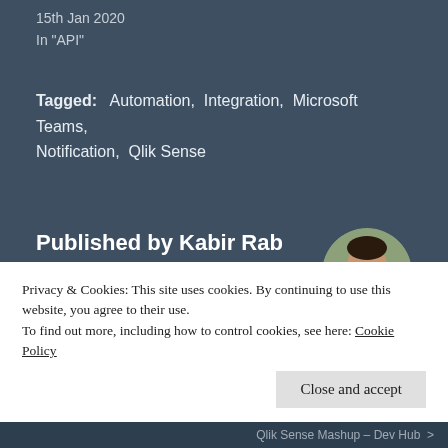15th Jan 2020
In "API"
Tagged:   Automation,  Integration,  Microsoft Teams,  Notification,  Qlik Sense
Published by Kabir Rab
View all posts by Kabir Rab
[Figure (photo): Circular avatar photo of Kabir Rab, a smiling man wearing a white shirt, with green foliage in the background]
Privacy & Cookies: This site uses cookies. By continuing to use this website, you agree to their use.
To find out more, including how to control cookies, see here: Cookie Policy
Close and accept
Qlik Sense Mashup – Dev Hub  >